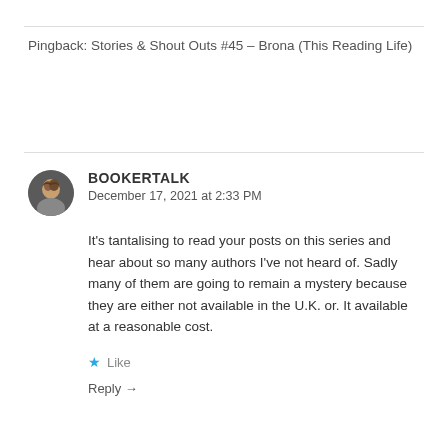Pingback: Stories & Shout Outs #45 – Brona (This Reading Life)
BOOKERTALK
December 17, 2021 at 2:33 PM
It’s tantalising to read your posts on this series and hear about so many authors I’ve not heard of. Sadly many of them are going to remain a mystery because they are either not available in the U.K. or. It available at a reasonable cost.
Like
Reply →